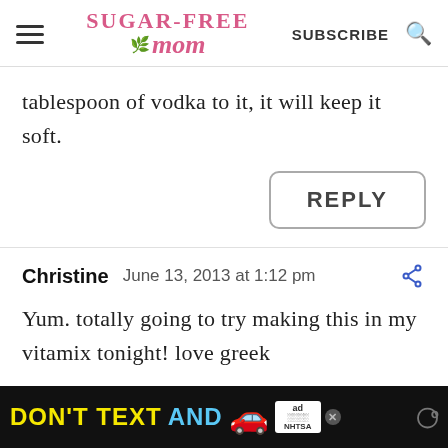Sugar-Free Mom - SUBSCRIBE
tablespoon of vodka to it, it will keep it soft.
REPLY
Christine  June 13, 2013 at 1:12 pm
Yum. totally going to try making this in my vitamix tonight! love greek
[Figure (screenshot): NHTSA advertisement banner: DON'T TEXT AND [car emoji] with ad badge and NHTSA logo on black background]